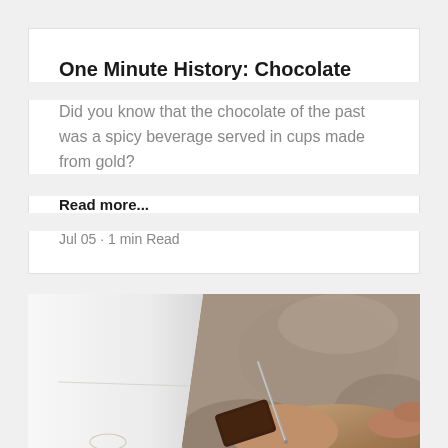One Minute History: Chocolate
Did you know that the chocolate of the past was a spicy beverage served in cups made from gold?
Read more...
Jul 05 · 1 min Read
[Figure (photo): Close-up photo of a person's hand holding a piece of dark chocolate with a needle or skewer, resting on a white cloth or fabric, with a blurred stone background.]